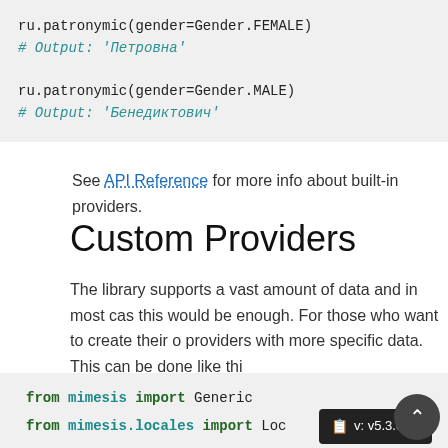[Figure (screenshot): Code block showing ru.patronymic(gender=Gender.FEMALE) and # Output: 'Петровна' and ru.patronymic(gender=Gender.MALE) and # Output: 'Бенедиктович']
See API Reference for more info about built-in providers.
Custom Providers
The library supports a vast amount of data and in most cases this would be enough. For those who want to create their own providers with more specific data. This can be done like this:
[Figure (screenshot): Code block showing: from mimesis import Generic, from mimesis.locales import Locale (with version badge v: v5.3.0), from mimesis.providers.base import BaseProvider, class SomeProvider(BaseProvider):, class Meta:]